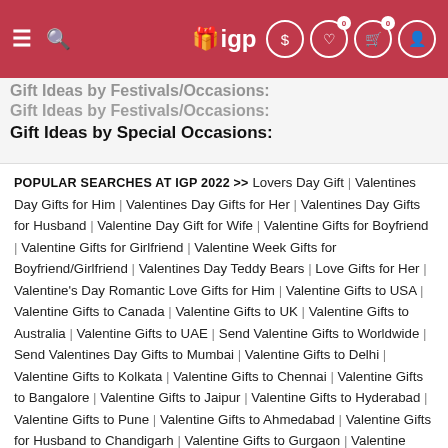IGP navigation bar with logo, search, dollar, wishlist (0), cart (0), account icons
Gift Ideas by Festivals/Occasions: Gift Ideas by Special Occasions:
POPULAR SEARCHES AT IGP 2022 >> Lovers Day Gift | Valentines Day Gifts for Him | Valentines Day Gifts for Her | Valentines Day Gifts for Husband | Valentine Day Gift for Wife | Valentine Gifts for Boyfriend | Valentine Gifts for Girlfriend | Valentine Week Gifts for Boyfriend/Girlfriend | Valentines Day Teddy Bears | Love Gifts for Her | Valentine's Day Romantic Love Gifts for Him | Valentine Gifts to USA | Valentine Gifts to Canada | Valentine Gifts to UK | Valentine Gifts to Australia | Valentine Gifts to UAE | Send Valentine Gifts to Worldwide | Send Valentines Day Gifts to Mumbai | Valentine Gifts to Delhi | Valentine Gifts to Kolkata | Valentine Gifts to Chennai | Valentine Gifts to Bangalore | Valentine Gifts to Jaipur | Valentine Gifts to Hyderabad | Valentine Gifts to Pune | Valentine Gifts to Ahmedabad | Valentine Gifts for Husband to Chandigarh | Valentine Gifts to Gurgaon | Valentine Gifts to Lucknow | Personalized Valentine's Day Gifts | Heart Shaped Gifts | Valentines Day Photo Frame Gift | Valentine's Day Flowers | Valentines Day Roses | Valentines Day Cake | Cake and Flower Delivery | Roses Online Delivery | Red Roses Online | Birthday Flowers | Anniversary Flowers | Birthday Cake | Anniversary Cake |